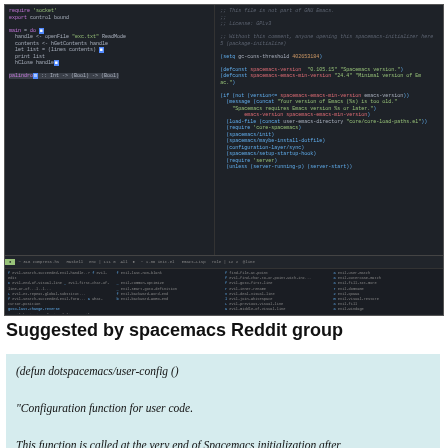[Figure (screenshot): Screenshot of a code editor (likely Emacs/Spacemacs) showing two panes: left pane has Lisp/Emacs Lisp code with colored syntax highlighting on a dark background, right pane shows more code. Below the editor is a status bar and a key binding reference panel at the bottom.]
Suggested by spacemacs Reddit group
(defun dotspacemacs/user-config ()
"Configuration function for user code.
This function is called at the very end of Spacemacs initialization after
layers configuration.
This is the place where most of your configurations should